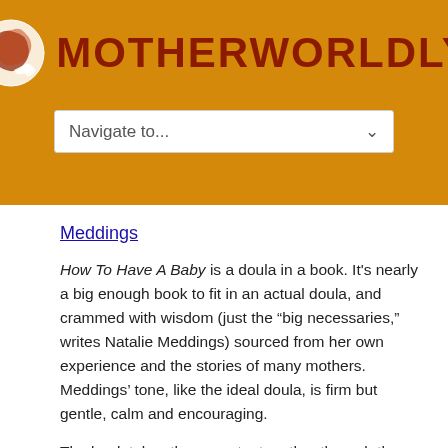[Figure (logo): Motherworldly logo with globe icon and text]
Navigate to...
Meddings
How To Have A Baby is a doula in a book. It’s nearly a big enough book to fit in an actual doula, and crammed with wisdom (just the “big necessaries,” writes Natalie Meddings) sourced from her own experience and the stories of many mothers. Meddings’ tone, like the ideal doula, is firm but gentle, calm and encouraging.
The book takes the expectant mother through the usual route of pregnancy